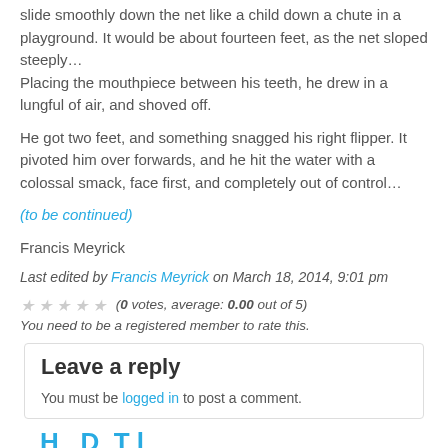slide smoothly down the net like a child down a chute in a playground. It would be about fourteen feet, as the net sloped steeply… Placing the mouthpiece between his teeth, he drew in a lungful of air, and shoved off.
He got two feet, and something snagged his right flipper. It pivoted him over forwards, and he hit the water with a colossal smack, face first, and completely out of control…
(to be continued)
Francis Meyrick
Last edited by Francis Meyrick on March 18, 2014, 9:01 pm
(0 votes, average: 0.00 out of 5)
You need to be a registered member to rate this.
Leave a reply
You must be logged in to post a comment.